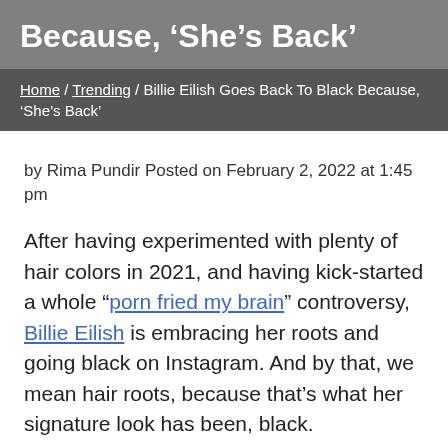Because, ‘She’s Back’
Home / Trending / Billie Eilish Goes Back To Black Because, ‘She’s Back’
by Rima Pundir Posted on February 2, 2022 at 1:45 pm
After having experimented with plenty of hair colors in 2021, and having kick-started a whole “porn fried my brain” controversy, Billie Eilish is embracing her roots and going black on Instagram. And by that, we mean hair roots, because that’s what her signature look has been, black.
That said, this time, the signature green roots are